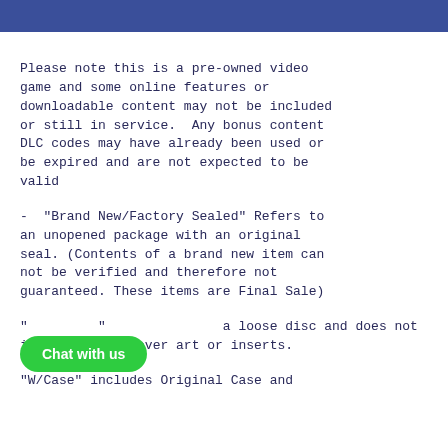[Figure (other): Blue horizontal banner bar at the top of the page]
Please note this is a pre-owned video game and some online features or downloadable content may not be included or still in service.  Any bonus content DLC codes may have already been used or be expired and are not expected to be valid
- "Brand New/Factory Sealed" Refers to an unopened package with an original seal. (Contents of a brand new item can not be verified and therefore not guaranteed. These items are Final Sale)
"[Disc Only]" means a loose disc and does not include case, cover art or inserts.
"W/Case" includes Original Case and